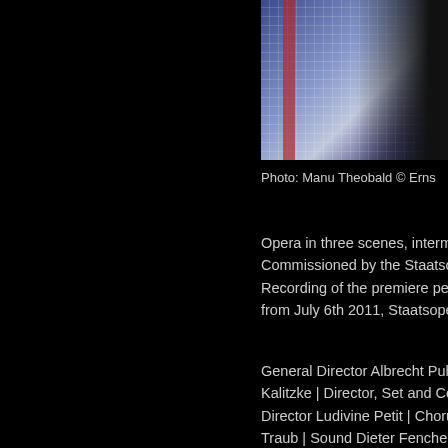[Figure (photo): Partial photo of a person against a checkered blue/white background with a red stripe, partially cropped at right edge]
Photo: Manu Theobald © Erns
Opera in three scenes, interme: Commissioned by the Staatsop Recording of the premiere perf from July 6th 2011, Staatsoper
General Director Albrecht Puh Kalitzke | Director, Set and Co Director Ludivine Petit | Choru Traub | Sound Dieter Fenchel | Konnerth | Dramaturgy Sergio Forum Neues Musiktheater, Ar
Medea Annette Seiltgen (sop